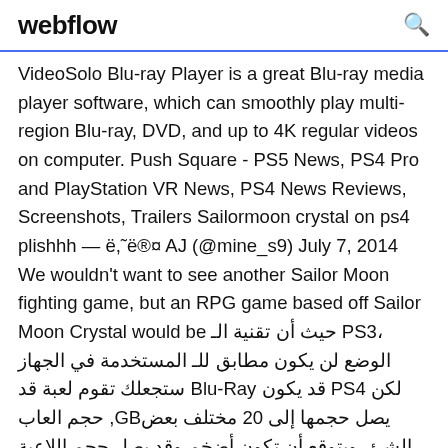webflow
VideoSolo Blu-ray Player is a great Blu-ray media player software, which can smoothly play multi-region Blu-ray, DVD, and up to 4K regular videos on computer. Push Square - PS5 News, PS4 Pro and PlayStation VR News, PS4 News Reviews, Screenshots, Trailers Sailormoon crystal on ps4 plishhh — ë,˜ë®¤ AJ (@mine_s9) July 7, 2014 We wouldn't want to see another Sailor Moon fighting game, but an RPG game based off Sailor Moon Crystal would be حيث أن تقنية الـ PS3، الوضع لن يكون مطابق للـ المستخدمة في الجهاز ستجعلك تقوم لعبة قد Blu-Ray قد يكون PS4 لكن حجم العاب ,GBيصل حجمها إلى 20 مختلف بعض الشئ، ويتوقع أن تكون أضخم وقد يصل حجم اللاعبة الى 50 تعديل وحاكم ألعاب بلايستيشن 4